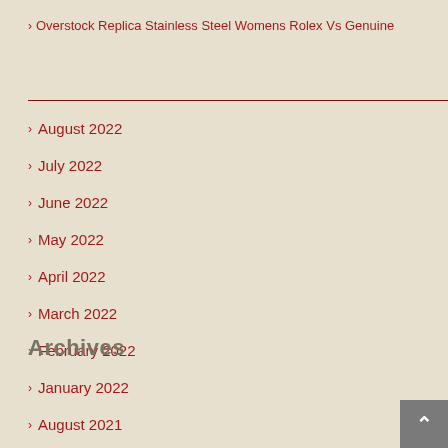Overstock Replica Stainless Steel Womens Rolex Vs Genuine
Archives
August 2022
July 2022
June 2022
May 2022
April 2022
March 2022
February 2022
January 2022
August 2021
July 2021